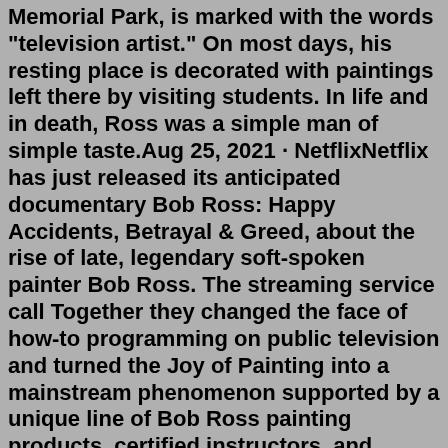Memorial Park, is marked with the words "television artist." On most days, his resting place is decorated with paintings left there by visiting students. In life and in death, Ross was a simple man of simple taste.Aug 25, 2021 · NetflixNetflix has just released its anticipated documentary Bob Ross: Happy Accidents, Betrayal & Greed, about the rise of late, legendary soft-spoken painter Bob Ross. The streaming service call Together they changed the face of how-to programming on public television and turned the Joy of Painting into a mainstream phenomenon supported by a unique line of Bob Ross painting products, certified instructors, and whimsical collectibles for painters and non-painters alike.Celebrate your love for Bob Ross with this timeless and uniquely designed exclusive Bob Ross watch. Features include a printed dial and band with authentic Bob Ross artwork, and Bob Ross paint brush customized watch hands. This watch makes a great gift for any Bob Ross fan from kids to adult, or any occasion including Birthdays and Christmas Bob Ross Fans Call For Boycott After